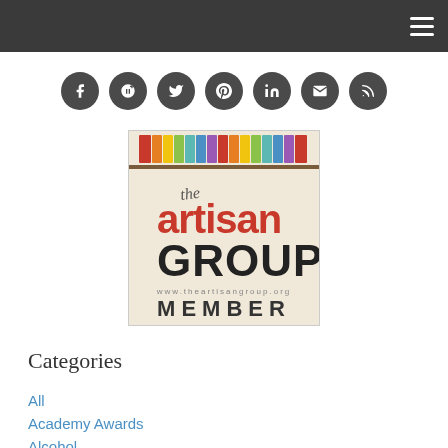Navigation bar with hamburger menu
[Figure (infographic): Row of 7 social media icon circles (Facebook, Google+, Twitter, Pinterest, LinkedIn, Email, RSS) in dark grey circles]
[Figure (logo): The Artisan Group member badge with colorful stripes at top, script and serif lettering, www.theartisangroup.org, MEMBER text]
Categories
All
Academy Awards
Alcohol